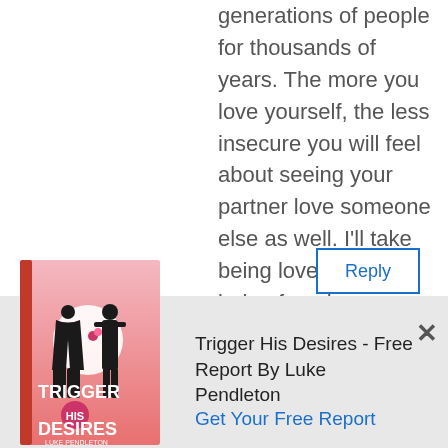generations of people for thousands of years. The more you love yourself, the less insecure you will feel about seeing your partner love someone else as well. I'll take being loved over being forsaken any day. God Bless.
Reply
freedomskyz
helli as long as your totally honest ith all parties – that way they have a hoice to stay or m
[Figure (illustration): Book cover for 'Trigger His Desires' by Luke Pendleton showing two silhouettes on a pink background]
Trigger His Desires - Free Report By Luke Pendleton Get Your Free Report